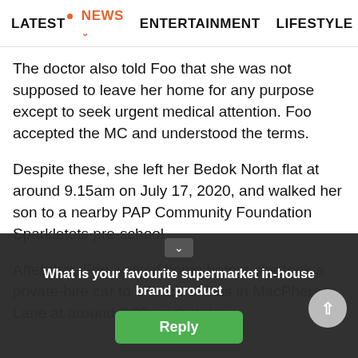LATEST · NEWS · ENTERTAINMENT · LIFESTYLE · EC>
The doctor also told Foo that she was not supposed to leave her home for any purpose except to seek urgent medical attention. Foo accepted the MC and understood the terms.
Despite these, she left her Bedok North flat at around 9.15am on July 17, 2020, and walked her son to a nearby PAP Community Foundation Sparkletots pre-school.
After that, Foo walked home before she took a private-hire car to a block of flats in MacPherson Lane at around 3.30pm that day.
What is your favourite supermarket in-house brand product
Reply